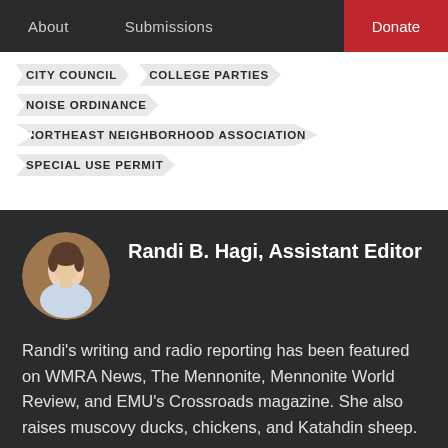About | Submissions | Donate
CITY COUNCIL
COLLEGE PARTIES
NOISE ORDINANCE
NORTHEAST NEIGHBORHOOD ASSOCIATION
SPECIAL USE PERMIT
Randi B. Hagi, Assistant Editor
Randi's writing and radio reporting has been featured on WMRA News, The Mennonite, Mennonite World Review, and EMU's Crossroads magazine. She also raises muscovy ducks, chickens, and Katahdin sheep.